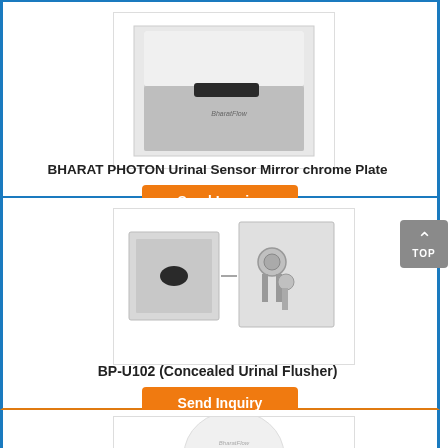[Figure (photo): BHARAT PHOTON Urinal Sensor Mirror Chrome Plate product image - a rectangular chrome plate with a sensor slot in the center]
BHARAT PHOTON Urinal Sensor Mirror chrome Plate
Send Inquiry
[Figure (photo): BP-U102 Concealed Urinal Flusher product image - two items shown: a chrome flush plate with oval sensor, and an internal mechanism/solenoid valve]
BP-U102 (Concealed Urinal Flusher)
Send Inquiry
[Figure (photo): Partial view of a white oval urinal sensor flusher unit at bottom of page]